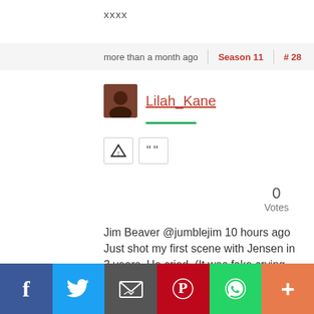xxxx
more than a month ago  Season 11  # 28
Lilah_Kane
Jim Beaver @jumblejim 10 hours ago Just shot my first scene with Jensen in 3 years. He cried. (It was fake crying, but still...)
[Figure (screenshot): Social share bar with Facebook, Twitter, Email, Pinterest, WhatsApp, and More buttons]